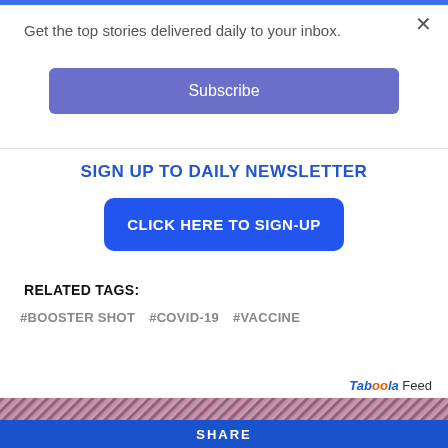Get the top stories delivered daily to your inbox.
Subscribe
SIGN UP TO DAILY NEWSLETTER
CLICK HERE TO SIGN-UP
RELATED TAGS:
#BOOSTER SHOT
#COVID-19
#VACCINE
Taboola Feed
[Figure (photo): Pink and black patterned camouflage nature photo strip]
SHARE